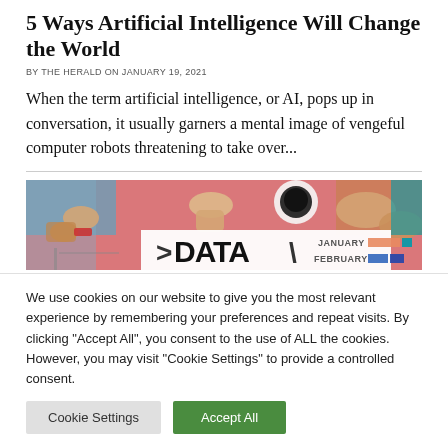5 Ways Artificial Intelligence Will Change the World
BY THE HERALD ON JANUARY 19, 2021
When the term artificial intelligence, or AI, pops up in conversation, it usually garners a mental image of vengeful computer robots threatening to take over...
[Figure (photo): Promotional banner image with hands around a pink background, text reading DATA with JANUARY and FEBRUARY labels and colored bars]
We use cookies on our website to give you the most relevant experience by remembering your preferences and repeat visits. By clicking “Accept All”, you consent to the use of ALL the cookies. However, you may visit “Cookie Settings” to provide a controlled consent.
Cookie Settings | Accept All